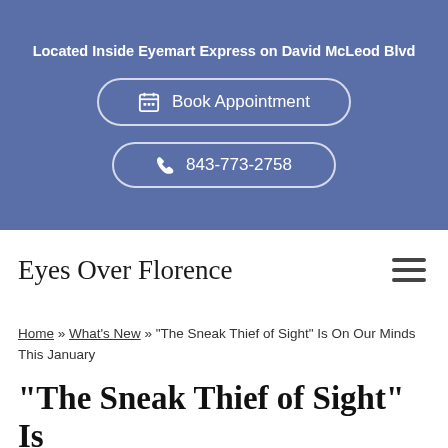Located Inside Eyemart Express on David McLeod Blvd
[Figure (infographic): Blue banner with two rounded-rectangle buttons: 'Book Appointment' with a calendar icon, and '843-773-2758' with a phone icon]
Eyes Over Florence
[Figure (other): Hamburger menu icon (three horizontal lines)]
Home » What's New » "The Sneak Thief of Sight" Is On Our Minds This January
"The Sneak Thief of Sight" Is